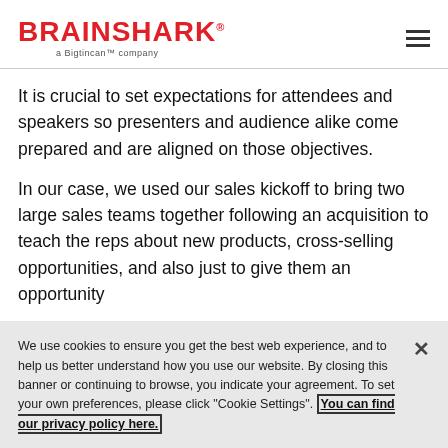BRAINSHARK a Bigtincan™ company
It is crucial to set expectations for attendees and speakers so presenters and audience alike come prepared and are aligned on those objectives.
In our case, we used our sales kickoff to bring two large sales teams together following an acquisition to teach the reps about new products, cross-selling opportunities, and also just to give them an opportunity
We use cookies to ensure you get the best web experience, and to help us better understand how you use our website. By closing this banner or continuing to browse, you indicate your agreement. To set your own preferences, please click "Cookie Settings". You can find our privacy policy here.